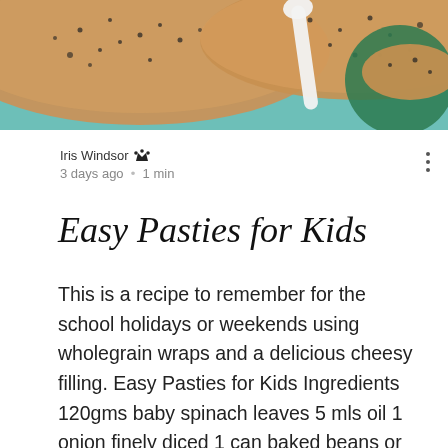[Figure (photo): Top portion of a photo showing pasties/wraps with seeds on top, on a teal/green background with a white spoon and green plate visible]
Iris Windsor 👑
3 days ago · 1 min
Easy Pasties for Kids
This is a recipe to remember for the school holidays or weekends using wholegrain wraps and a delicious cheesy filling. Easy Pasties for Kids Ingredients 120gms baby spinach leaves 5 mls oil 1 onion finely diced 1 can baked beans or cannnelini beans 2 tomatoes quartered, deseeded, and finely chopped 1/2 cup shredded tasty cheese 8 wraps, warmed (Choose a smaller size) 2 eggs lightly beaten 2